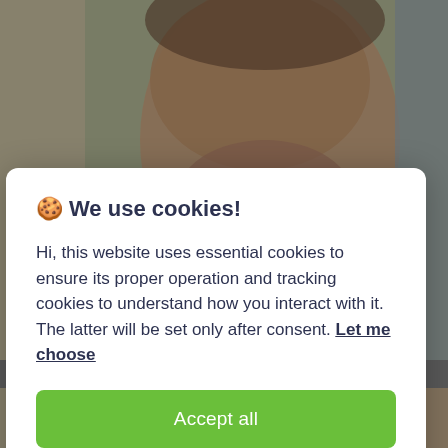[Figure (photo): Blurred close-up photo of a person's face and upper body in a blue jacket, visible in the background behind a cookie consent modal dialog.]
🍪 We use cookies!
Hi, this website uses essential cookies to ensure its proper operation and tracking cookies to understand how you interact with it. The latter will be set only after consent. Let me choose
Accept all
Reject all